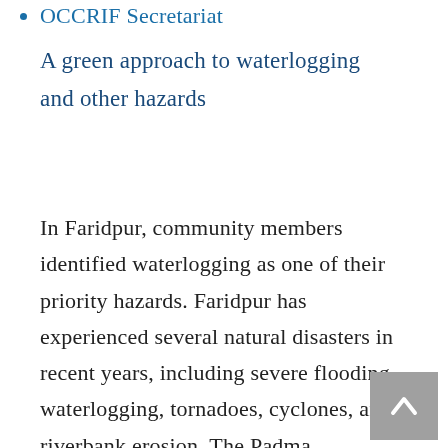OCCRIF Secretariat
A green approach to waterlogging and other hazards
In Faridpur, community members identified waterlogging as one of their priority hazards. Faridpur has experienced several natural disasters in recent years, including severe flooding, waterlogging, tornadoes, cyclones, and riverbank erosion. The Padma